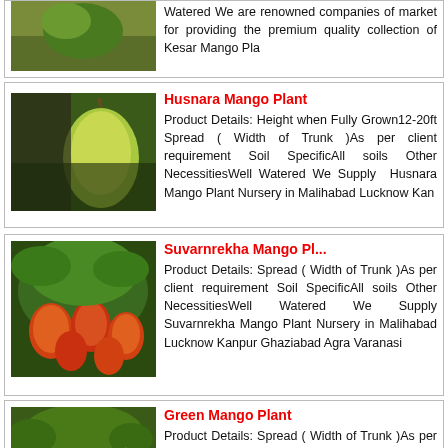Watered We are renowned companies of market for providing the premium quality collection of Kesar Mango Pla
Husnara Mango Plant
Product Details: Height when Fully Grown12-20ft Spread ( Width of Trunk )As per client requirement Soil SpecificAll soils Other NecessitiesWell Watered We Supply Husnara Mango Plant Nursery in Malihabad Lucknow Kan
Suvarnrekha Mango Pl...
Product Details: Spread ( Width of Trunk )As per client requirement Soil SpecificAll soils Other NecessitiesWell Watered We Supply Suvarnrekha Mango Plant Nursery in Malihabad Lucknow Kanpur Ghaziabad Agra Varanasi
Green Mango Plant
Product Details: Spread ( Width of Trunk )As per client requirement Soil SpecificAll soils Other NecessitiesWell Watered We Supply Green Mango Plant Nursery in Malihabad Lucknow Kanpur Ghaziabad Agra Varanasi Meerut